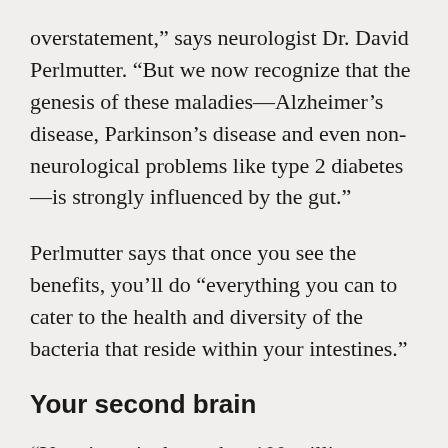overstatement,” says neurologist Dr. David Perlmutter. “But we now recognize that the genesis of these maladies—Alzheimer’s disease, Parkinson’s disease and even non-neurological problems like type 2 diabetes—is strongly influenced by the gut.”
Perlmutter says that once you see the benefits, you’ll do “everything you can to cater to the health and diversity of the bacteria that reside within your intestines.”
Your second brain
“Your intestinal tract has 100 million nerves that ‘talk’ back and forth with your brain,” reports Dr.